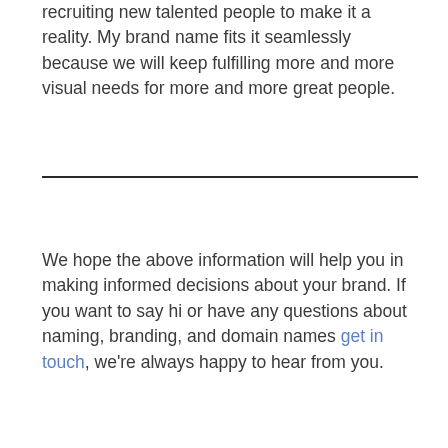recruiting new talented people to make it a reality. My brand name fits it seamlessly because we will keep fulfilling more and more visual needs for more and more great people.
We hope the above information will help you in making informed decisions about your brand. If you want to say hi or have any questions about naming, branding, and domain names get in touch, we're always happy to hear from you.